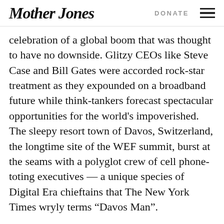Mother Jones | DONATE
celebration of a global boom that was thought to have no downside. Glitzy CEOs like Steve Case and Bill Gates were accorded rock-star treatment as they expounded on a broadband future while think-tankers forecast spectacular opportunities for the world's impoverished. The sleepy resort town of Davos, Switzerland, the longtime site of the WEF summit, burst at the seams with a polyglot crew of cell phone-toting executives — a unique species of Digital Era chieftains that The New York Times wryly terms “Davos Man”.
But as the latest WEF confab opened in New York City Thursday morning, the mood was notably gloomier, tempered by two years of stagnant